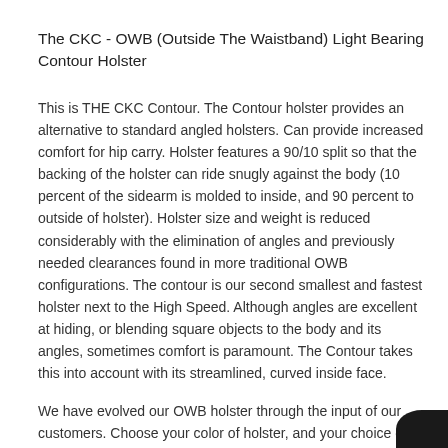The CKC - OWB (Outside The Waistband) Light Bearing Contour Holster
This is THE CKC Contour. The Contour holster provides an alternative to standard angled holsters. Can provide increased comfort for hip carry. Holster features a 90/10 split so that the backing of the holster can ride snugly against the body (10 percent of the sidearm is molded to inside, and 90 percent to outside of holster). Holster size and weight is reduced considerably with the elimination of angles and previously needed clearances found in more traditional OWB configurations. The contour is our second smallest and fastest holster next to the High Speed. Although angles are excellent at hiding, or blending square objects to the body and its angles, sometimes comfort is paramount. The Contour takes this into account with its streamlined, curved inside face.
We have evolved our OWB holster through the input of our customers. Choose your color of holster, and your choice of